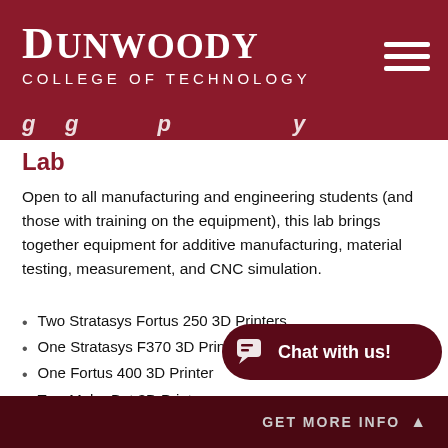Dunwoody College of Technology
Lab
Open to all manufacturing and engineering students (and those with training on the equipment), this lab brings together equipment for additive manufacturing, material testing, measurement, and CNC simulation.
Two Stratasys Fortus 250 3D Printers
One Stratasys F370 3D Printer
One Fortus 400 3D Printer
Two MakerBot 3D Printers
Two Zeiss Duramax Coordin…
Two MTS Criterion Tensile/Shear/Compression Testers
GET MORE INFO